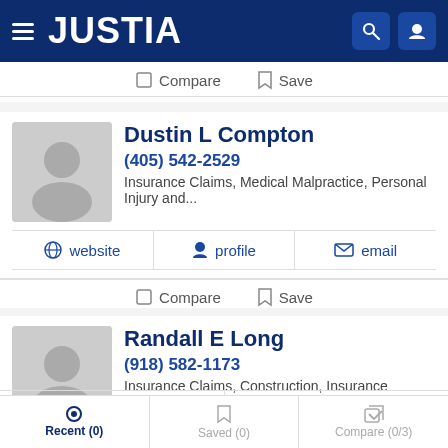JUSTIA
Compare  Save
Dustin L Compton
(405) 542-2529
Insurance Claims, Medical Malpractice, Personal Injury and...
website   profile   email
Compare  Save
Randall E Long
(918) 582-1173
Insurance Claims, Construction, Insurance Defense and Pe...
profile   email
Recent (0)  Saved (0)  Compare (0/3)